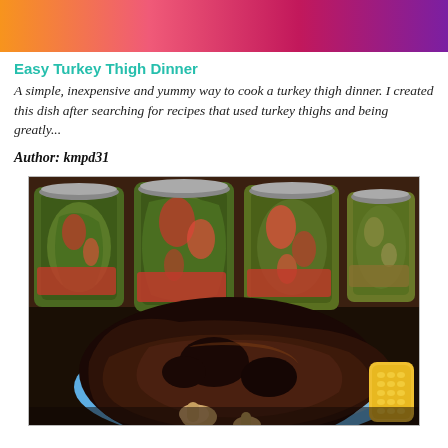[Figure (other): Decorative gradient banner header strip, orange to pink to purple]
Easy Turkey Thigh Dinner
A simple, inexpensive and yummy way to cook a turkey thigh dinner. I created this dish after searching for recipes that used turkey thighs and being greatly...
Author: kmpd31
[Figure (photo): Photo of a roasted turkey thigh on a blue plate with preserved vegetable jars in the background and corn on the right]